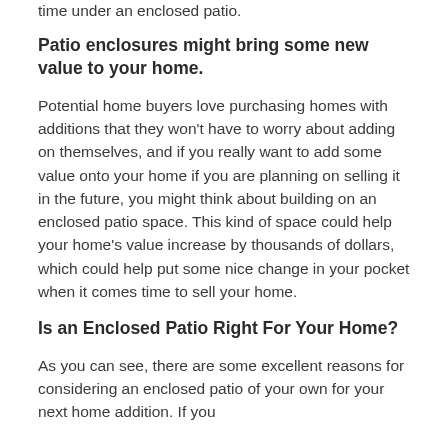time under an enclosed patio.
Patio enclosures might bring some new value to your home.
Potential home buyers love purchasing homes with additions that they won't have to worry about adding on themselves, and if you really want to add some value onto your home if you are planning on selling it in the future, you might think about building on an enclosed patio space. This kind of space could help your home's value increase by thousands of dollars, which could help put some nice change in your pocket when it comes time to sell your home.
Is an Enclosed Patio Right For Your Home?
As you can see, there are some excellent reasons for considering an enclosed patio of your own for your next home addition. If you